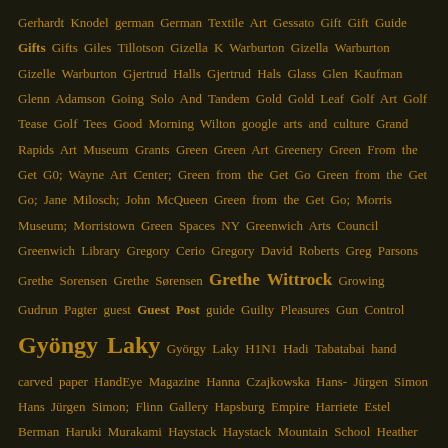Gerhardt Knodel german German Textile Art Gessato Gift Gift Guide Gifts Gifts Giles Tillotson Gizella K Warburton Gizella Warburton Gizelle Warburton Gjertrud Halls Gjertrud Hals Glass Glen Kaufman Glenn Adamson Going Solo And Tandem Gold Gold Leaf Golf Art Golf Tease Golf Tees Good Morning Wilton google arts and culture Grand Rapids Art Museum Grants Green Green Art Greenery Green From the Get G0; Wayne Art Center; Green from the Get Go Green from the Get Go; Jane Milosch; John McQueen Green from the Get Go; Morris Museum; Morristown Green Spaces NY Greenwich Arts Council Greenwich Library Gregory Cerio Gregory David Roberts Greg Parsons Grethe Sorensen Grethe Sørensen Grethe Wittrock Growing Gudrun Pagter guest Guest Post guide Guilty Pleasures Gun Control Gyöngy Laky György Laky H1N1 Hadi Tabatabai hand carved paper HandEye Magazine Hanna Czajkowska Hans-Jürgen Simon Hans Jürgen Simon; Flinn Gallery Hapsburg Empire Harriete Estel Berman Haruki Murakami Haystack Haystack Mountain School Heather Hobler Heavy Metal Heidrun Schimmel Helena Hernmarck Helena Hernmarck; Norma Minkowitz; Westport Libray; Ridgefield Library; browngrotta arts Helena Hernmarck Ceca Georgieva hemp Herbert Hoover: A Life by Glen Jeansonne Herman Melville Herta Muller Hideaki Kizaki Hideho Tanaka Hideho Tanaka; Vanishing and Emerging; Hikaru CHO Hillbilly Elegy Hiroyuki Shindo Hisako Sekijima Hiskako Sekijima Historic textiles History History holiday gift guide Horsehair Hotel Valley Ho Hot Off the Presses!